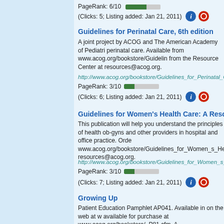PageRank: 6/10
(Clicks: 5; Listing added: Jan 21, 2011)
Guidelines for Perinatal Care, 6th edition
A joint project by ACOG and The American Academy of Pediatrics. Guidelines for perinatal care. Available from www.acog.org/bookstore/Guidelines... from the Resource Center at resources@acog.org.
http://www.acog.org/bookstore/Guidelines_for_Perinatal_Care__P2620
PageRank: 3/10
(Clicks: 6; Listing added: Jan 21, 2011)
Guidelines for Women's Health Care: A Resource Manual, 3
This publication will help you understand the principles of health ob-gyns and other providers in hospital and office practice. Order www.acog.org/bookstore/Guidelines_for_Women_s_Health__P... resources@acog.org.
http://www.acog.org/bookstore/Guidelines_for_Women_s_Health__P2
PageRank: 3/10
(Clicks: 7; Listing added: Jan 21, 2011)
Growing Up
Patient Education Pamphlet AP041. Available in on the web at w available for purchase at www.acog.org/bookstore/_P81.cfm. A
http://www.acog.org/publications/patient_education/bp041.cfm
PageRank: 4/10
(Clicks: 14; Listing added: Jan 21, 2011)